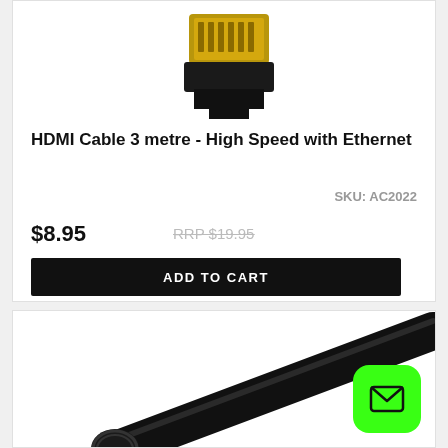[Figure (photo): HDMI cable gold-tip connector close-up photo, partial view at top of card]
HDMI Cable 3 metre - High Speed with Ethernet
SKU: AC2022
$8.95
RRP $19.95
ADD TO CART
[Figure (photo): Black HDMI cable with connector, diagonal close-up photo in bottom card]
[Figure (other): Green rounded square mail/envelope icon button in bottom-right corner]